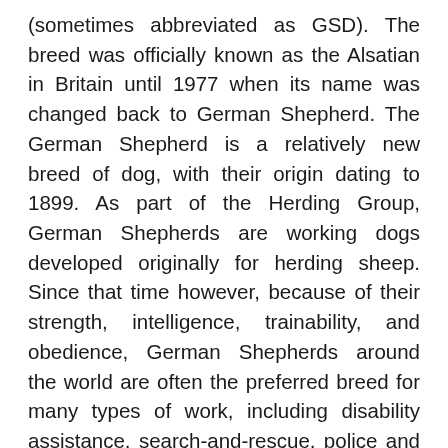(sometimes abbreviated as GSD). The breed was officially known as the Alsatian in Britain until 1977 when its name was changed back to German Shepherd. The German Shepherd is a relatively new breed of dog, with their origin dating to 1899. As part of the Herding Group, German Shepherds are working dogs developed originally for herding sheep. Since that time however, because of their strength, intelligence, trainability, and obedience, German Shepherds around the world are often the preferred breed for many types of work, including disability assistance, search-and-rescue, police and military roles, and acting. The German Shepherd is the second-most registered breed by the American Kennel Club and seventh-most registered breed by The Kennel Club in the United Kingdom.